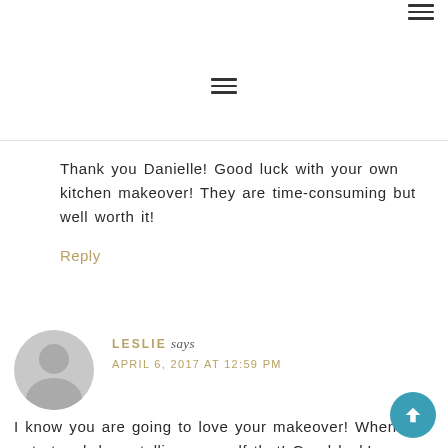≡ (hamburger menu icon, top right)
≡ (hamburger menu icon, center)
Thank you Danielle! Good luck with your own kitchen makeover! They are time-consuming but well worth it!
Reply
LESLIE says
APRIL 6, 2017 AT 12:59 PM
I know you are going to love your makeover! When it gets tough keep telling yourself that! Good luck!